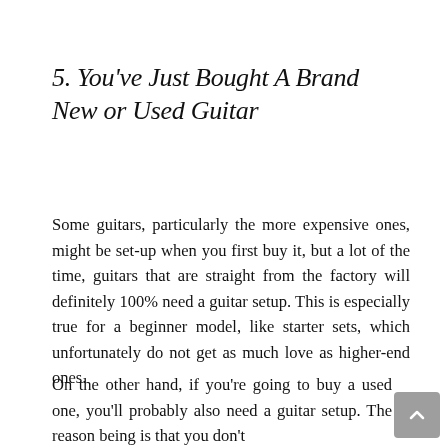5. You've Just Bought A Brand New or Used Guitar
Some guitars, particularly the more expensive ones, might be set-up when you first buy it, but a lot of the time, guitars that are straight from the factory will definitely 100% need a guitar setup. This is especially true for a beginner model, like starter sets, which unfortunately do not get as much love as higher-end ones.
On the other hand, if you're going to buy a used one, you'll probably also need a guitar setup. The reason being is that you don't